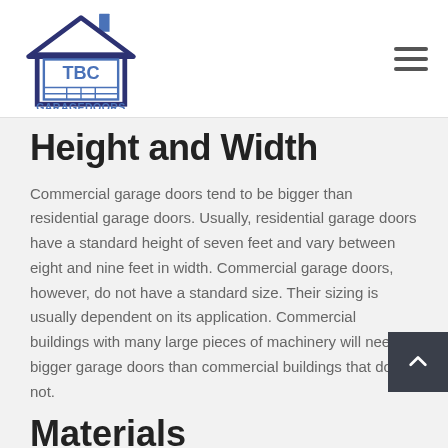[Figure (logo): TBC Garage Doors logo — a house outline with a garage door showing 'TBC' and 'GARAGEDOORS' text, in blue and dark navy colors]
Height and Width
Commercial garage doors tend to be bigger than residential garage doors. Usually, residential garage doors have a standard height of seven feet and vary between eight and nine feet in width. Commercial garage doors, however, do not have a standard size. Their sizing is usually dependent on its application. Commercial buildings with many large pieces of machinery will need bigger garage doors than commercial buildings that do not.
Materials